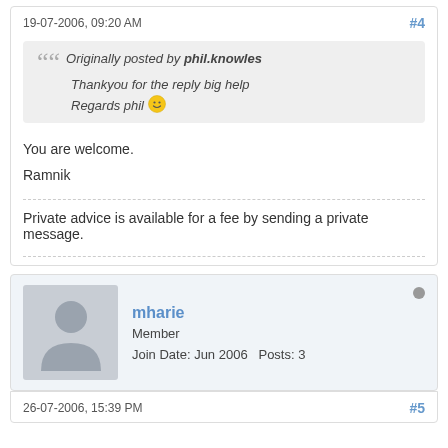19-07-2006, 09:20 AM
#4
Originally posted by phil.knowles
Thankyou for the reply big help
Regards phil :)
You are welcome.

Ramnik
Private advice is available for a fee by sending a private message.
[Figure (illustration): Forum user avatar placeholder showing a generic person silhouette]
mharie
Member
Join Date: Jun 2006   Posts: 3
26-07-2006, 15:39 PM
#5